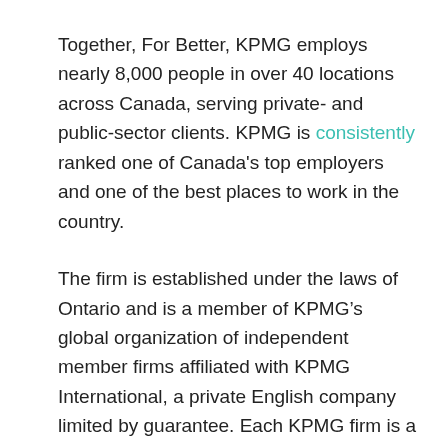Together, For Better, KPMG employs nearly 8,000 people in over 40 locations across Canada, serving private- and public-sector clients. KPMG is consistently ranked one of Canada's top employers and one of the best places to work in the country.
The firm is established under the laws of Ontario and is a member of KPMG’s global organization of independent member firms affiliated with KPMG International, a private English company limited by guarantee. Each KPMG firm is a legally distinct and separate entity and describes itself as such. For more information, see home.kpmg.ca